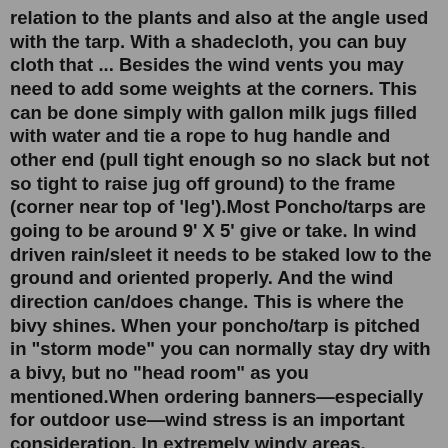relation to the plants and also at the angle used with the tarp. With a shadecloth, you can buy cloth that ... Besides the wind vents you may need to add some weights at the corners. This can be done simply with gallon milk jugs filled with water and tie a rope to hug handle and other end (pull tight enough so no slack but not so tight to raise jug off ground) to the frame (corner near top of 'leg').Most Poncho/tarps are going to be around 9' X 5' give or take. In wind driven rain/sleet it needs to be staked low to the ground and oriented properly. And the wind direction can/does change. This is where the bivy shines. When your poncho/tarp is pitched in "storm mode" you can normally stay dry with a bivy, but no "head room" as you mentioned.When ordering banners—especially for outdoor use—wind stress is an important consideration. In extremely windy areas, banners can become easily damaged. A common solution to prevent this from happening is to cut wind slits into the banner. Wind slits are crescent-shaped slits that